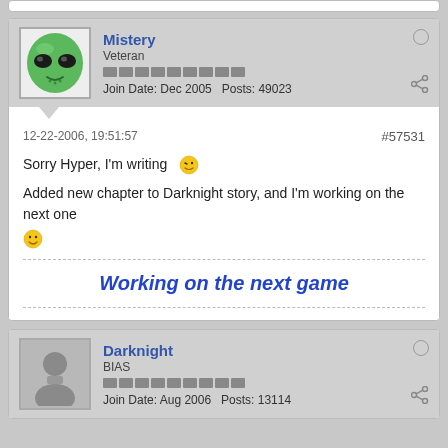Mistery
Veteran
Join Date: Dec 2005   Posts: 49023
12-22-2006, 19:51:57
#57531
Sorry Hyper, I'm writing
Added new chapter to Darknight story, and I'm working on the next one
Working on the next game
Darknight
BIAS
Join Date: Aug 2006   Posts: 13114